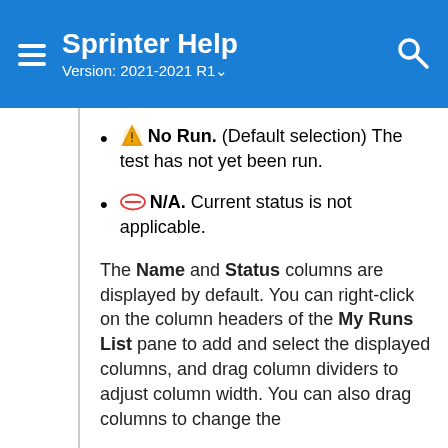Sprinter Help
Version: 2021-2021 R1
No Run. (Default selection) The test has not yet been run.
N/A. Current status is not applicable.
The Name and Status columns are displayed by default. You can right-click on the column headers of the My Runs List pane to add and select the displayed columns, and drag column dividers to adjust column width. You can also drag columns to change the